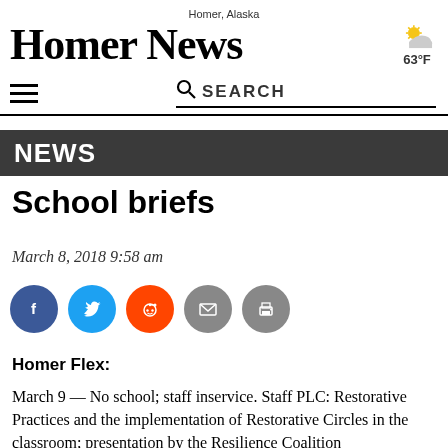Homer, Alaska
HOMER NEWS
[Figure (illustration): Partly cloudy weather icon with sun and cloud, showing 63°F]
[Figure (infographic): Navigation bar with hamburger menu icon and SEARCH text with magnifying glass icon]
NEWS
School briefs
March 8, 2018 9:58 am
[Figure (infographic): Social sharing buttons: Facebook (blue), Twitter (blue), Reddit (orange), Email (gray), Print (gray)]
Homer Flex:
March 9 — No school; staff inservice. Staff PLC: Restorative Practices and the implementation of Restorative Circles in the classroom; presentation by the Resilience Coalition